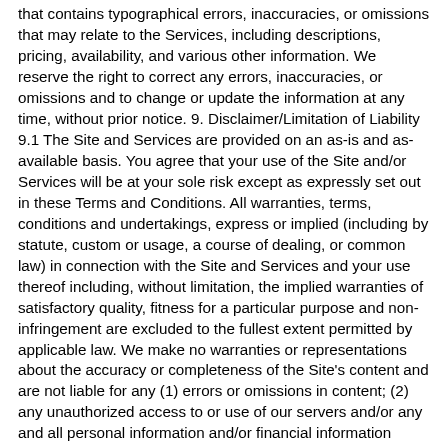that contains typographical errors, inaccuracies, or omissions that may relate to the Services, including descriptions, pricing, availability, and various other information. We reserve the right to correct any errors, inaccuracies, or omissions and to change or update the information at any time, without prior notice. 9. Disclaimer/Limitation of Liability 9.1 The Site and Services are provided on an as-is and as-available basis. You agree that your use of the Site and/or Services will be at your sole risk except as expressly set out in these Terms and Conditions. All warranties, terms, conditions and undertakings, express or implied (including by statute, custom or usage, a course of dealing, or common law) in connection with the Site and Services and your use thereof including, without limitation, the implied warranties of satisfactory quality, fitness for a particular purpose and non-infringement are excluded to the fullest extent permitted by applicable law. We make no warranties or representations about the accuracy or completeness of the Site's content and are not liable for any (1) errors or omissions in content; (2) any unauthorized access to or use of our servers and/or any and all personal information and/or financial information stored on our server; (3) any interruption or cessation of transmission to or from the site or services; and/or (4) any bugs, viruses, trojan horses, or the like which may be transmitted to or through the site by any third party. We will not be responsible for any delay or failure to comply with our obligations under these Terms and Conditions if such delay or failure is caused by an event